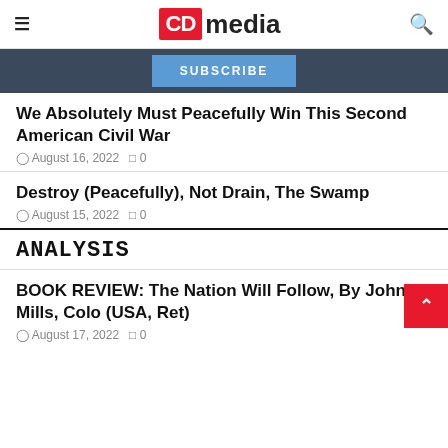CD media
SUBSCRIBE
We Absolutely Must Peacefully Win This Second American Civil War
August 16, 2022  0
Destroy (Peacefully), Not Drain, The Swamp
August 15, 2022  0
ANALYSIS
BOOK REVIEW: The Nation Will Follow, By John Mills, Colo (USA, Ret)
August 17, 2022  0